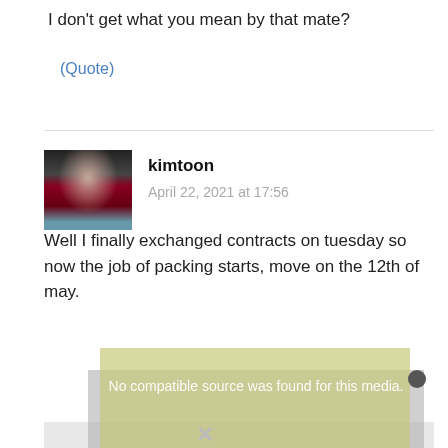I don't get what you mean by that mate?
(Quote)
kimtoon
April 22, 2021 at 17:56
[Figure (photo): Avatar photo of user kimtoon, showing a young person sitting, wearing a dark red/maroon top]
Well I finally exchanged contracts on tuesday so now the job of packing starts, move on the 12th of may.
[Figure (screenshot): Video player error overlay showing 'No compatible source was found for this media.' on a yellowish/gray background with an X close button]